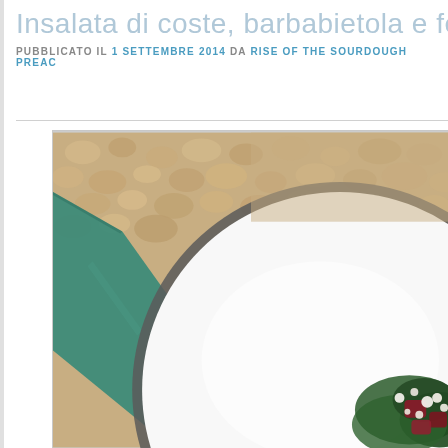Insalata di coste, barbabietola e fe...
PUBBLICATO IL 1 SETTEMBRE 2014 DA RISE OF THE SOURDOUGH PREAC...
[Figure (photo): Close-up overhead photo of a white plate with salad containing dark leafy greens (chard/coste), beetroot chunks, and white crumbled cheese, with a teal/green napkin visible beside the plate, all on a light pebbled/stone background. The plate is shown from above at a slight angle, cropped from the top-left.]